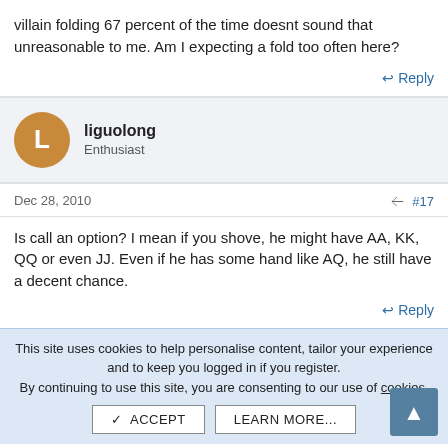villain folding 67 percent of the time doesnt sound that unreasonable to me. Am I expecting a fold too often here?
↩ Reply
liguolong
Enthusiast
Dec 28, 2010  #17
Is call an option? I mean if you shove, he might have AA, KK, QQ or even JJ. Even if he has some hand like AQ, he still have a decent chance.
↩ Reply
This site uses cookies to help personalise content, tailor your experience and to keep you logged in if you register.
By continuing to use this site, you are consenting to our use of cookies.
✓ ACCEPT   LEARN MORE...